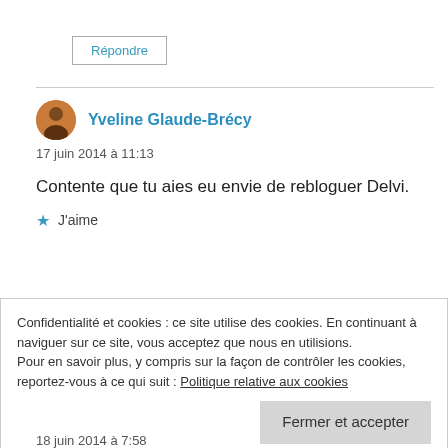Répondre
Yveline Glaude-Brécy
17 juin 2014 à 11:13
Contente que tu aies eu envie de rebloguer Delvi.
J'aime
Confidentialité et cookies : ce site utilise des cookies. En continuant à naviguer sur ce site, vous acceptez que nous en utilisions.
Pour en savoir plus, y compris sur la façon de contrôler les cookies, reportez-vous à ce qui suit : Politique relative aux cookies
Fermer et accepter
18 juin 2014 à 7:58